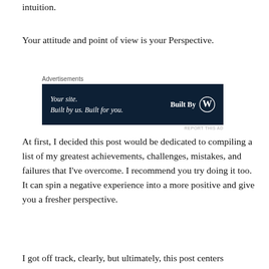intuition.
Your attitude and point of view is your Perspective.
[Figure (other): WordPress advertisement banner: dark navy background, text 'Your site. Built by us. Built for you.' on the left and 'Built By' with WordPress logo on the right. Above: 'Advertisements'. Below: 'REPORT THIS AD']
At first, I decided this post would be dedicated to compiling a list of my greatest achievements, challenges, mistakes, and failures that I've overcome. I recommend you try doing it too. It can spin a negative experience into a more positive and give you a fresher perspective.
I got off track, clearly, but ultimately, this post centers